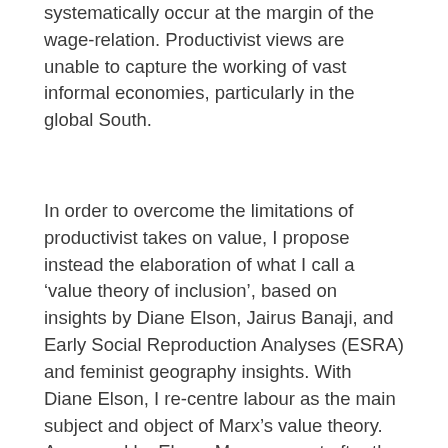systematically occur at the margin of the wage-relation. Productivist views are unable to capture the working of vast informal economies, particularly in the global South.
In order to overcome the limitations of productivist takes on value, I propose instead the elaboration of what I call a 'value theory of inclusion', based on insights by Diane Elson, Jairus Banaji, and Early Social Reproduction Analyses (ESRA) and feminist geography insights. With Diane Elson, I re-centre labour as the main subject and object of Marx's value theory. As argued by Elson, Marx was not after the development of a general theory of natural prices. His main aim was to show how labour was at the centre of processes of value generation and extraction.